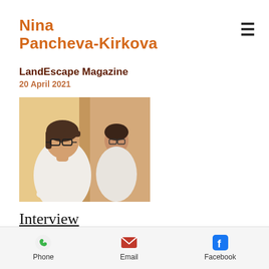Nina Pancheva-Kirkova
LandEscape Magazine
20 April 2021
[Figure (photo): A woman with glasses wearing a white t-shirt, photographed near a mirror that shows her reflection, warm indoor lighting with beige/yellow tones.]
Interview
Issue 58, 2021
Woking News and Mail
Phone  Email  Facebook